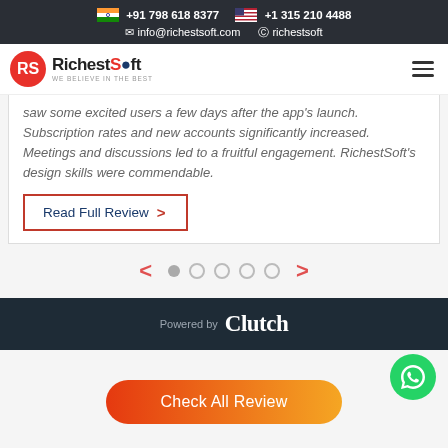+91 798 618 8377   +1 315 210 4488   info@richestsoft.com   richestsoft
[Figure (logo): RichestSoft logo with red circular icon and text 'RichestSoft WE BELIEVE IN THE BEST']
saw some excited users a few days after the app's launch. Subscription rates and new accounts significantly increased. Meetings and discussions led to a fruitful engagement. RichestSoft's design skills were commendable.
Read Full Review >
[Figure (infographic): Carousel navigation with left arrow, 5 dots (first filled), and right arrow]
[Figure (logo): Powered by Clutch logo on dark background]
[Figure (illustration): Green WhatsApp floating button icon]
Check All Review